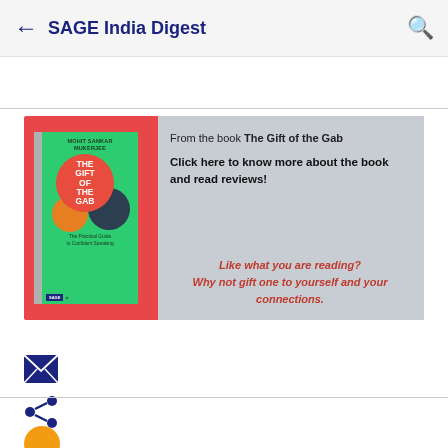SAGE India Digest
[Figure (illustration): Book advertisement banner for 'The Gift of the Gab' with book cover showing speech bubbles on green background, with promotional text on grey background with red/orange border]
From the book The Gift of the Gab
Click here to know more about the book and read reviews!
Like what you are reading?
Why not gift one to yourself and your connections.
[Figure (illustration): Email/mail icon - dark blue envelope icon]
[Figure (illustration): Share icon - dark blue share/network icon]
[Figure (illustration): Orange circle partially visible at bottom of page]